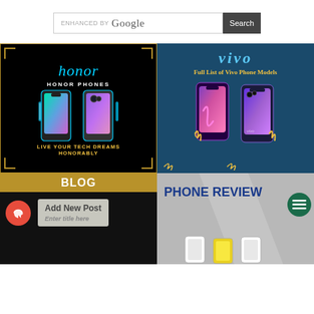[Figure (screenshot): Google search bar with 'ENHANCED BY Google' text and a Search button]
[Figure (photo): Honor phones advertisement with cyan 'honor' logo, two smartphones, and text 'HONOR PHONES' and 'LIVE YOUR TECH DREAMS HONORABLY' on black background with gold border]
[Figure (photo): Vivo phones advertisement with teal background, 'vivo' logo, two smartphones, and text 'Full List of Vivo Phone Models' with gold decorative elements]
[Figure (screenshot): Blog section showing BLOG header in gold/black, red share icon button, and 'Add New Post' dialog with 'Enter title here' placeholder]
[Figure (screenshot): Phone Review section with dark blue bold text 'PHONE REVIEW' on gray background, green hamburger menu button in circle, and phone images at bottom]